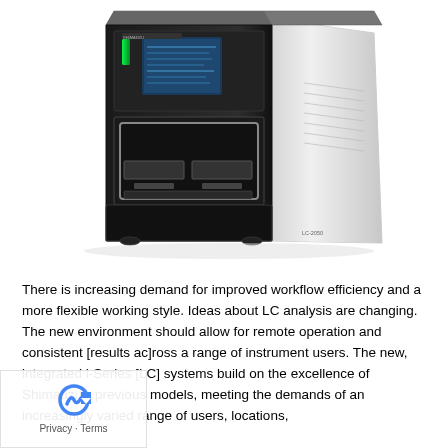[Figure (photo): Shimadzu LC-2050 (i-Series) integrated HPLC system — a large black and white laboratory liquid chromatography instrument with a touchscreen display, autosampler compartment, and column oven, shown in a three-quarter perspective view.]
There is increasing demand for improved workflow efficiency and a more flexible working style. Ideas about LC analysis are changing. The new environment should allow for remote operation and consistent [results ac]ross a range of instrument users. The new, integrated i-Series [LC] systems build on the excellence of Shimadzu's previous models, meeting the demands of an increasingly varied range of users, locations,